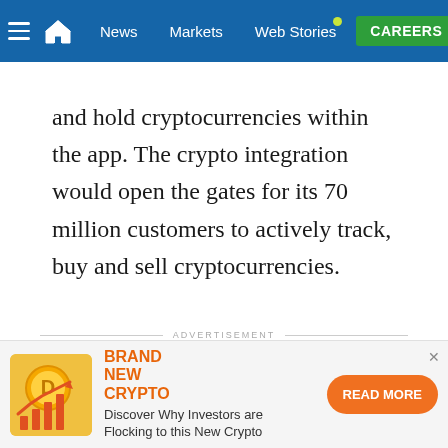≡  🏠  News  Markets  Web Stories  CAREERS
and hold cryptocurrencies within the app. The crypto integration would open the gates for its 70 million customers to actively track, buy and sell cryptocurrencies.
ADVERTISEMENT
[Figure (infographic): Advertisement banner with crypto coin icon, orange text 'BRAND NEW CRYPTO', description 'Discover Why Investors are Flocking to this New Crypto', and orange 'READ MORE' button]